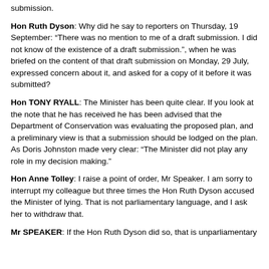submission.
Hon Ruth Dyson: Why did he say to reporters on Thursday, 19 September: “There was no mention to me of a draft submission. I did not know of the existence of a draft submission.”, when he was briefed on the content of that draft submission on Monday, 29 July, expressed concern about it, and asked for a copy of it before it was submitted?
Hon TONY RYALL: The Minister has been quite clear. If you look at the note that he has received he has been advised that the Department of Conservation was evaluating the proposed plan, and a preliminary view is that a submission should be lodged on the plan. As Doris Johnston made very clear: “The Minister did not play any role in my decision making.”
Hon Anne Tolley: I raise a point of order, Mr Speaker. I am sorry to interrupt my colleague but three times the Hon Ruth Dyson accused the Minister of lying. That is not parliamentary language, and I ask her to withdraw that.
Mr SPEAKER: If the Hon Ruth Dyson did so, that is unparliamentary